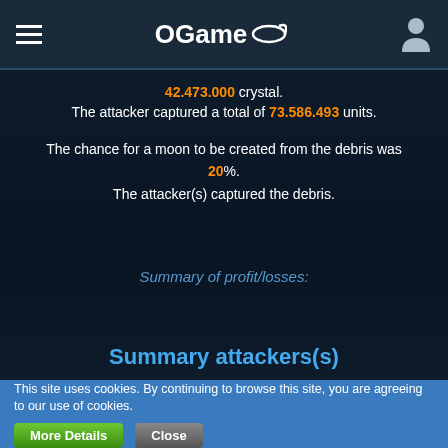OGame
42.473.000 crystal. The attacker captured a total of 73.586.493 units.
The chance for a moon to be created from the debris was 20%. The attacker(s) captured the debris.
Summary of profit/losses:
Summary attackers(s)
This site uses cookies. By continuing to browse this site, you are agreeing to our use of cookies.